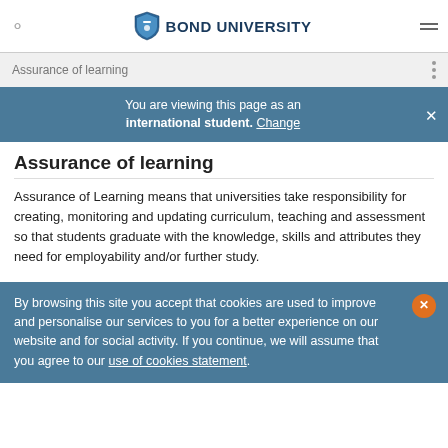BOND UNIVERSITY
Assurance of learning
You are viewing this page as an international student. Change
Assurance of learning
Assurance of Learning means that universities take responsibility for creating, monitoring and updating curriculum, teaching and assessment so that students graduate with the knowledge, skills and attributes they need for employability and/or further study.
By browsing this site you accept that cookies are used to improve and personalise our services to you for a better experience on our website and for social activity. If you continue, we will assume that you agree to our use of cookies statement.